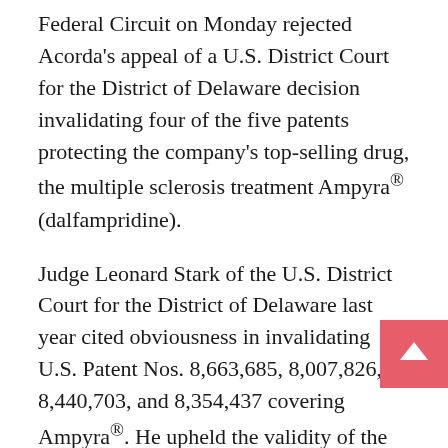Federal Circuit on Monday rejected Acorda's appeal of a U.S. District Court for the District of Delaware decision invalidating four of the five patents protecting the company's top-selling drug, the multiple sclerosis treatment Ampyra® (dalfampridine).
Judge Leonard Stark of the U.S. District Court for the District of Delaware last year cited obviousness in invalidating U.S. Patent Nos. 8,663,685, 8,007,826, 8,440,703, and 8,354,437 covering Ampyra®. He upheld the validity of the fifth patent, No. 5,540,938, which was originally granted to Elan and covers the formulation of Ampyra Extended Release Tablets, 10 mg. That patent expired in July, compared with between 2025 and 2027 for the four invalidated